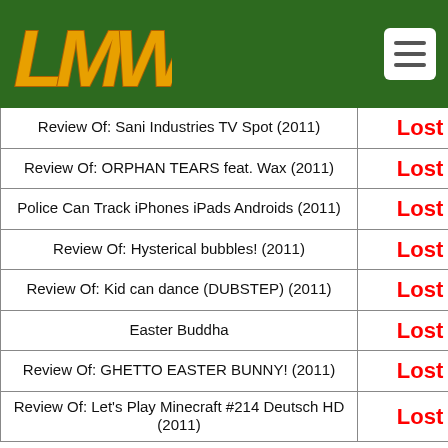LMW logo and navigation
| Title | Status |
| --- | --- |
| Review Of: Sani Industries TV Spot (2011) | Lost |
| Review Of: ORPHAN TEARS feat. Wax (2011) | Lost |
| Police Can Track iPhones iPads Androids (2011) | Lost |
| Review Of: Hysterical bubbles! (2011) | Lost |
| Review Of: Kid can dance (DUBSTEP) (2011) | Lost |
| Easter Buddha | Lost |
| Review Of: GHETTO EASTER BUNNY! (2011) | Lost |
| Review Of: Let's Play Minecraft #214 Deutsch HD (2011) | Lost |